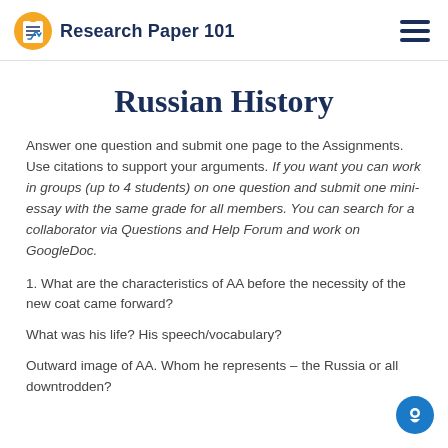Research Paper 101
Russian History
Answer one question and submit one page to the Assignments. Use citations to support your arguments. If you want you can work in groups (up to 4 students) on one question and submit one mini-essay with the same grade for all members. You can search for a collaborator via Questions and Help Forum and work on GoogleDoc.
1. What are the characteristics of AA before the necessity of the new coat came forward?
What was his life? His speech/vocabulary?
Outward image of AA. Whom he represents – the Russia or all downtrodden?